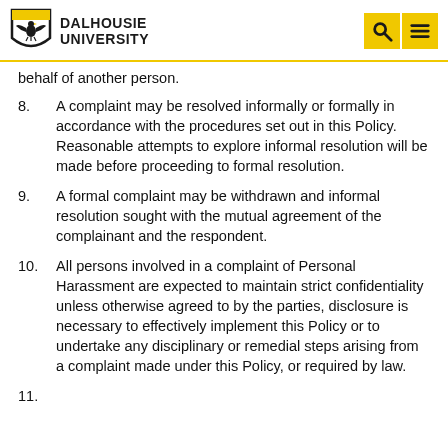DALHOUSIE UNIVERSITY
behalf of another person.
8.    A complaint may be resolved informally or formally in accordance with the procedures set out in this Policy. Reasonable attempts to explore informal resolution will be made before proceeding to formal resolution.
9.    A formal complaint may be withdrawn and informal resolution sought with the mutual agreement of the complainant and the respondent.
10.   All persons involved in a complaint of Personal Harassment are expected to maintain strict confidentiality unless otherwise agreed to by the parties, disclosure is necessary to effectively implement this Policy or to undertake any disciplinary or remedial steps arising from a complaint made under this Policy, or required by law.
11.  The Faculty of Medicine will...